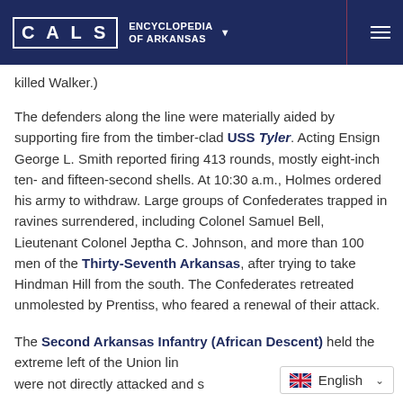CALS ENCYCLOPEDIA OF ARKANSAS
killed Walker.)
The defenders along the line were materially aided by supporting fire from the timber-clad USS Tyler. Acting Ensign George L. Smith reported firing 413 rounds, mostly eight-inch ten- and fifteen-second shells. At 10:30 a.m., Holmes ordered his army to withdraw. Large groups of Confederates trapped in ravines surrendered, including Colonel Samuel Bell, Lieutenant Colonel Jeptha C. Johnson, and more than 100 men of the Thirty-Seventh Arkansas, after trying to take Hindman Hill from the south. The Confederates retreated unmolested by Prentiss, who feared a renewal of their attack.
The Second Arkansas Infantry (African Descent) held the extreme left of the Union line. Although they were not directly attacked and s…